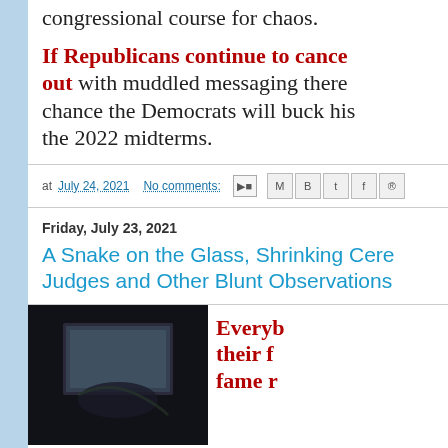congressional course for chaos.
If Republicans continue to cancel out with muddled messaging there chance the Democrats will buck his the 2022 midterms.
at July 24, 2021  No comments:
Friday, July 23, 2021
A Snake on the Glass, Shrinking Cere Judges and Other Blunt Observations
[Figure (photo): Dark image showing what appears to be a snake on glass, mostly black background with a dimly lit rectangular shape]
Everyb their f fame r